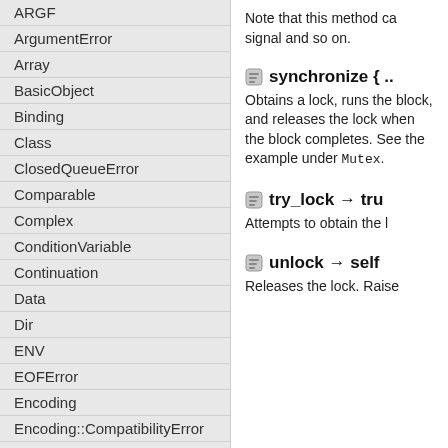ARGF
ArgumentError
Array
BasicObject
Binding
Class
ClosedQueueError
Comparable
Complex
ConditionVariable
Continuation
Data
Dir
ENV
EOFError
Encoding
Encoding::CompatibilityError
Encoding::Converter
Encoding::ConverterNotFoundError
Encoding::InvalidByteSequenceError
Encoding::UndefinedConversionError
Note that this method ca signal and so on.
synchronize { ..
Obtains a lock, runs the under Mutex.
try_lock → true
Attempts to obtain the l
unlock → self
Releases the lock. Raise